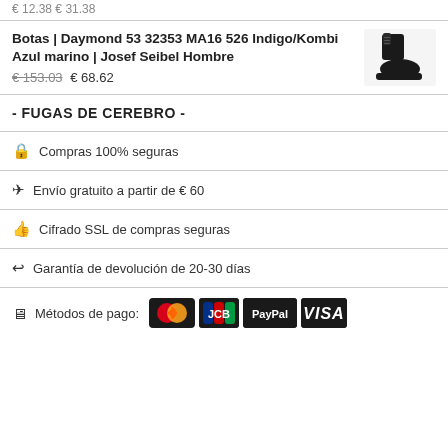Botas | Daymond 53 32353 MA16 526 Indigo/Kombi Azul marino | Josef Seibel Hombre
€ 153.03 € 68.62
- FUGAS DE CEREBRO -
🔒 Compras 100% seguras
✈ Envío gratuito a partir de € 60
👍 Cifrado SSL de compras seguras
↩ Garantía de devolución de 20-30 días
Métodos de pago: Mastercard JCB PayPal VISA